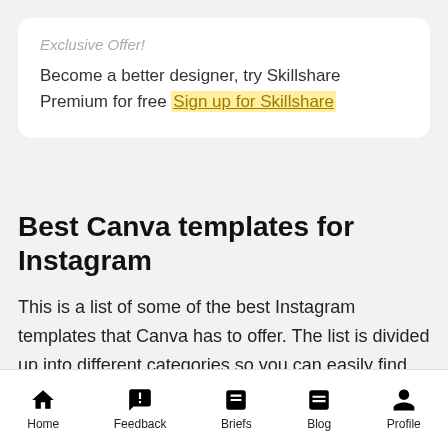Exclusive Offer!
Become a better designer, try Skillshare Premium for free Sign up for Skillshare
Best Canva templates for Instagram
This is a list of some of the best Instagram templates that Canva has to offer. The list is divided up into different categories so you can easily find exactly what you are looking for.
Home  Feedback  Briefs  Blog  Profile